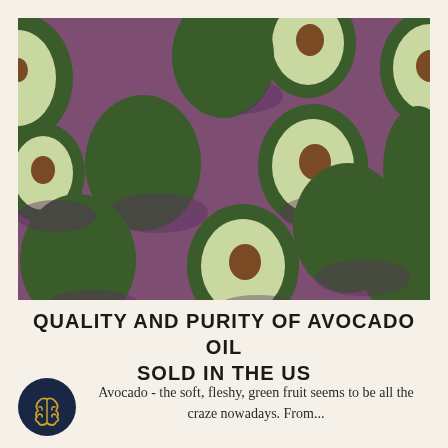[Figure (photo): A flat-lay pattern of whole and halved avocados on a purple/mauve background, arranged in a repeating diagonal grid pattern showing both the green exterior and the cream/green interior with brown pits.]
QUALITY AND PURITY OF AVOCADO OIL SOLD IN THE US
[Figure (logo): A dark navy blue circle containing a golden/yellow brain icon.]
Avocado - the soft, fleshy, green fruit seems to be all the craze nowadays. From...